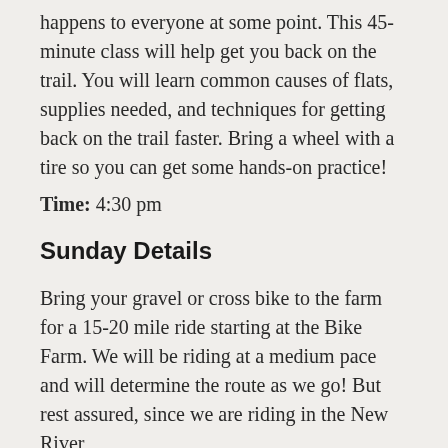happens to everyone at some point. This 45-minute class will help get you back on the trail. You will learn common causes of flats, supplies needed, and techniques for getting back on the trail faster. Bring a wheel with a tire so you can get some hands-on practice!
Time: 4:30 pm
Sunday Details
Bring your gravel or cross bike to the farm for a 15-20 mile ride starting at the Bike Farm. We will be riding at a medium pace and will determine the route as we go! But rest assured, since we are riding in the New River